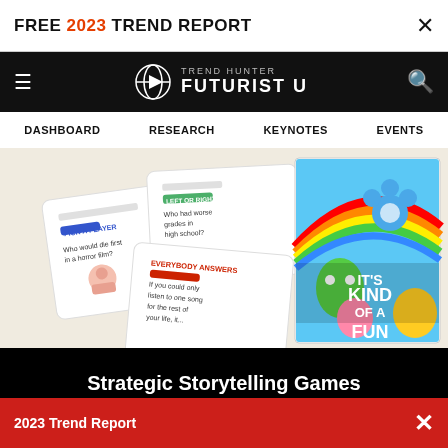FREE 2023 TREND REPORT ×
TREND HUNTER FUTURIST U — DASHBOARD RESEARCH KEYNOTES EVENTS
[Figure (photo): Flat-lay of card game cards on a light background on the left, and a colorful 'It's Kind of a Fun' board game box on the right]
Strategic Storytelling Games
'It's Kind of a Fun Story' is a Story Sharing Game for Adults
2023 Trend Report ×